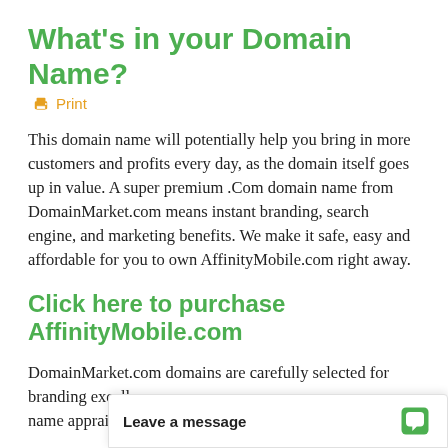What's in your Domain Name?
🖨 Print
This domain name will potentially help you bring in more customers and profits every day, as the domain itself goes up in value. A super premium .Com domain name from DomainMarket.com means instant branding, search engine, and marketing benefits. We make it safe, easy and affordable for you to own AffinityMobile.com right away.
Click here to purchase AffinityMobile.com
DomainMarket.com domains are carefully selected for branding excellence by top domain name appraisers, so y...
Leave a message